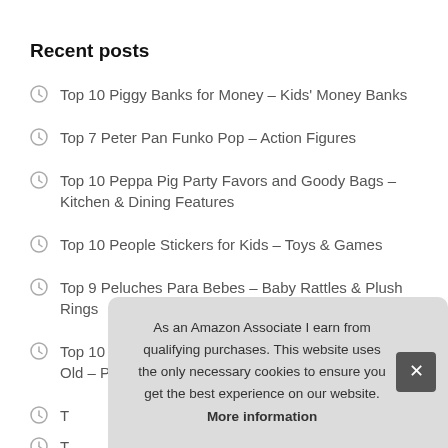Recent posts
Top 10 Piggy Banks for Money – Kids' Money Banks
Top 7 Peter Pan Funko Pop – Action Figures
Top 10 Peppa Pig Party Favors and Goody Bags – Kitchen & Dining Features
Top 10 People Stickers for Kids – Toys & Games
Top 9 Peluches Para Bebes – Baby Rattles & Plush Rings
Top 10 Wooden Peg Puzzles for Toddlers 2 3 Years Old – Peg...
T...
T...
As an Amazon Associate I earn from qualifying purchases. This website uses the only necessary cookies to ensure you get the best experience on our website. More information